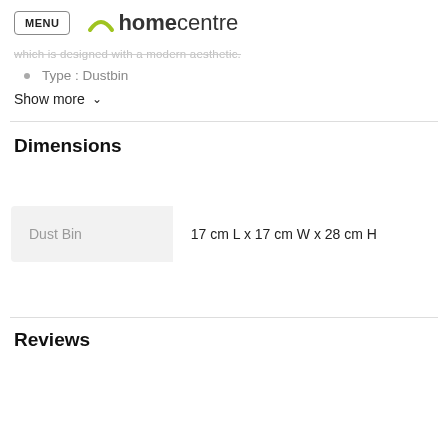MENU homecentre
which is designed with a modern aesthetic.
Type : Dustbin
Show more
Dimensions
|  |  |
| --- | --- |
| Dust Bin | 17 cm L x 17 cm W x 28 cm H |
Reviews